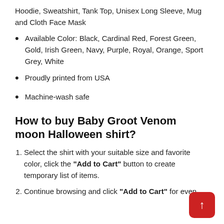Hoodie, Sweatshirt, Tank Top, Unisex Long Sleeve, Mug and Cloth Face Mask
Available Color: Black, Cardinal Red, Forest Green, Gold, Irish Green, Navy, Purple, Royal, Orange, Sport Grey, White
Proudly printed from USA
Machine-wash safe
How to buy Baby Groot Venom moon Halloween shirt?
Select the shirt with your suitable size and favorite color, click the "Add to Cart" button to create temporary list of items.
Continue browsing and click "Add to Cart" for even